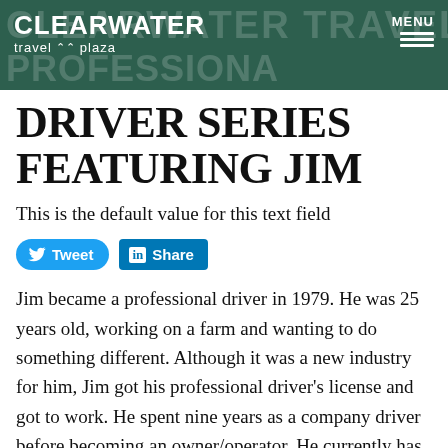CLEARWATER TRAVEL PLAZA
DRIVER SERIES FEATURING JIM
This is the default value for this text field
Tweet  Share
Jim became a professional driver in 1979. He was 25 years old, working on a farm and wanting to do something different. Although it was a new industry for him, Jim got his professional driver's license and got to work. He spent nine years as a company driver before becoming an owner/operator. He currently has three trucks - his oldest grandsons drive the other